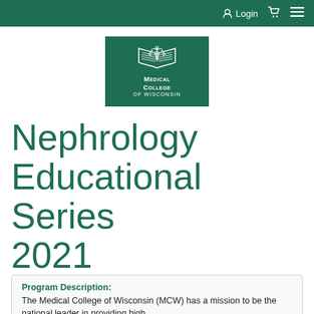Login
[Figure (logo): Medical College of Wisconsin logo: open book with caduceus on dark green background, white text reading MEDICAL COLLEGE OF WISCONSIN]
Nephrology Educational Series 2021
Program Description: The Medical College of Wisconsin (MCW) has a mission to be the national leader in providing high